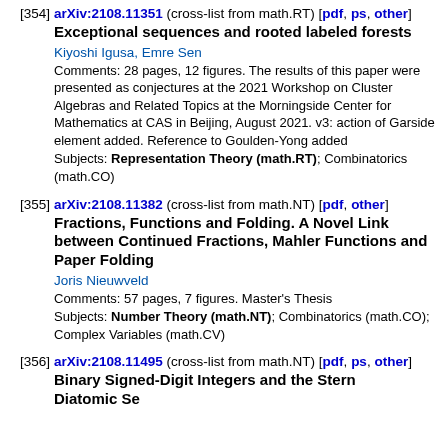[354] arXiv:2108.11351 (cross-list from math.RT) [pdf, ps, other] Exceptional sequences and rooted labeled forests. Kiyoshi Igusa, Emre Sen. Comments: 28 pages, 12 figures. The results of this paper were presented as conjectures at the 2021 Workshop on Cluster Algebras and Related Topics at the Morningside Center for Mathematics at CAS in Beijing, August 2021. v3: action of Garside element added. Reference to Goulden-Yong added. Subjects: Representation Theory (math.RT); Combinatorics (math.CO)
[355] arXiv:2108.11382 (cross-list from math.NT) [pdf, other] Fractions, Functions and Folding. A Novel Link between Continued Fractions, Mahler Functions and Paper Folding. Joris Nieuwveld. Comments: 57 pages, 7 figures. Master's Thesis. Subjects: Number Theory (math.NT); Combinatorics (math.CO); Complex Variables (math.CV)
[356] arXiv:2108.11495 (cross-list from math.NT) [pdf, ps, other] Binary Signed-Digit Integers and the Stern Diatomic Sequence